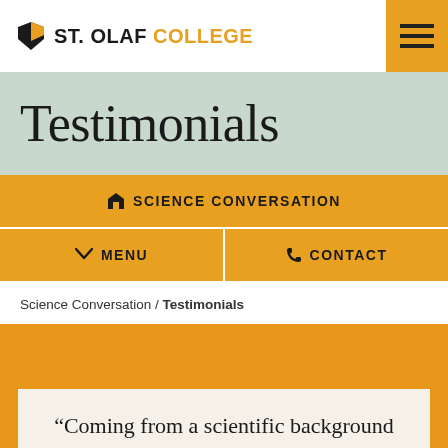ST. OLAF COLLEGE
Testimonials
SCIENCE CONVERSATION
MENU
CONTACT
Science Conversation / Testimonials
“Coming from a scientific background already, Sci Con